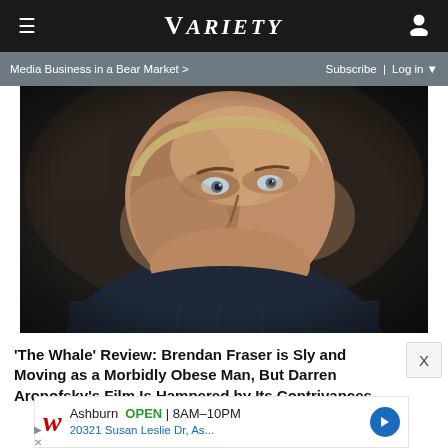≡  VARIETY  👤
Media Business in a Bear Market >    Subscribe | Log in ▼
[Figure (photo): Close-up film still of Brendan Fraser as a morbidly obese man in a dark blue shirt, set in a dim kitchen interior.]
'The Whale' Review: Brendan Fraser is Sly and Moving as a Morbidly Obese Man, But Darren Aronofsky's Film Is Hampered by Its Contrivances
[Figure (screenshot): Advertisement for Walgreens showing store in Ashburn is OPEN 8AM-10PM at 20321 Susan Leslie Dr, As...]